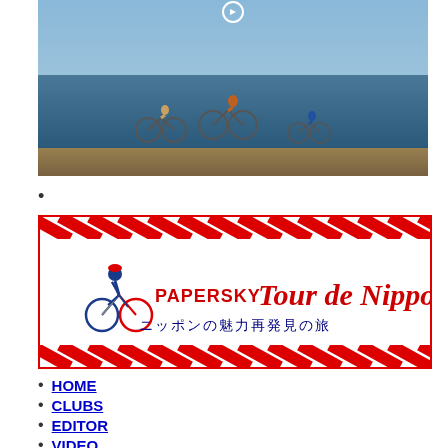[Figure (photo): Three people riding bicycles along a coastal path with sea and sky in the background]
[Figure (logo): PAPERSKY Tour de Nippon banner with red diagonal stripes border and Japanese text ニッポンの魅力再発見の旅]
HOME
CLUBS
EDITOR
VIDEO
MAPS
NEWSLETTER